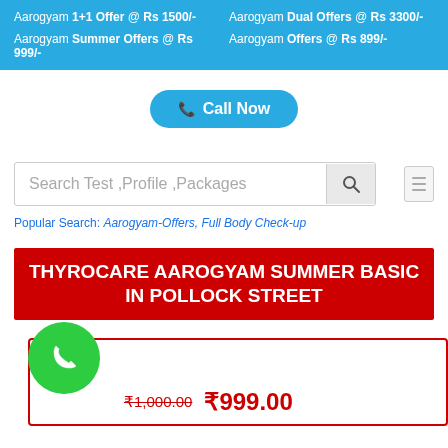Aarogyam 1+1 Offer @ Rs 1500/- | Aarogyam Dual Offers @ Rs 3300/- | Aarogyam Summer Offers @ Rs 999/- | Aarogyam Offers @ Rs 899/-
Call Now
Search Test ,Profile ,Packages
Popular Search: Aarogyam-Offers, Full Body Check-up
THYROCARE AAROGYAM SUMMER BASIC IN POLLOCK STREET
₹1,000.00  ₹999.00